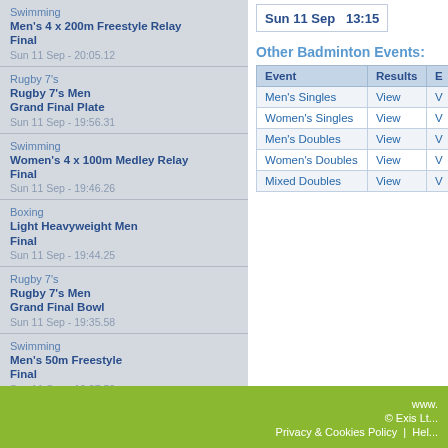Swimming
Men's 4 x 200m Freestyle Relay Final
Sun 11 Sep - 20:05.12
Rugby 7's
Rugby 7's Men Grand Final Plate
Sun 11 Sep - 19:56.31
Swimming
Women's 4 x 100m Medley Relay Final
Sun 11 Sep - 19:46.26
Boxing
Light Heavyweight Men Final
Sun 11 Sep - 19:44.25
Rugby 7's
Rugby 7's Men Grand Final Bowl
Sun 11 Sep - 19:35.58
Swimming
Men's 50m Freestyle Final
Sun 11 Sep - 19:27.59
Sun 11 Sep   13:15
Other Badminton Events:
| Event | Results | E |
| --- | --- | --- |
| Men's Singles | View | V |
| Women's Singles | View | V |
| Men's Doubles | View | V |
| Women's Doubles | View | V |
| Mixed Doubles | View | V |
www.
© Exis Lt...
Privacy & Cookies Policy  |  Hel...